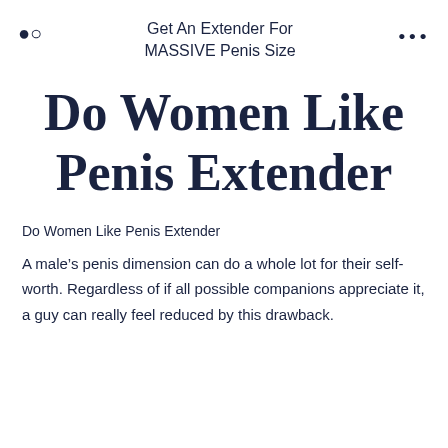Get An Extender For MASSIVE Penis Size
Do Women Like Penis Extender
Do Women Like Penis Extender
A male’s penis dimension can do a whole lot for their self-worth. Regardless of if all possible companions appreciate it, a guy can really feel reduced by this drawback.